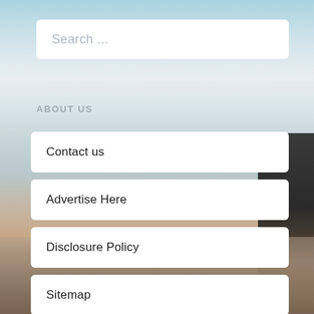[Figure (illustration): Website sidebar screenshot with a travel/city panorama background image showing a person sitting on a ledge overlooking a city skyline. Contains a search bar, 'ABOUT US' section header, and navigation menu items.]
Search ...
ABOUT US
Contact us
Advertise Here
Disclosure Policy
Sitemap